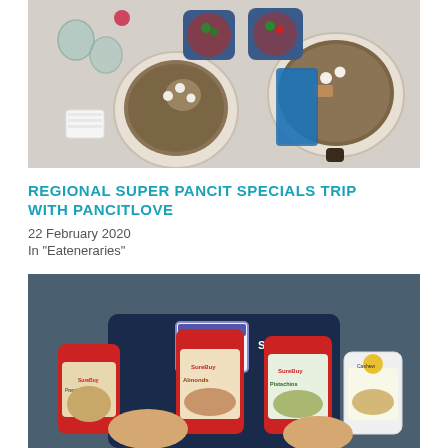[Figure (photo): Overhead/top-down view of multiple bowls of pancit noodle dishes with condiments, glasses, and napkins on a table.]
REGIONAL SUPER PANCIT SPECIALS TRIP WITH PANCITLOVE
22 February 2020
In "Eateneraries"
[Figure (photo): A person wearing a ShopTV shirt and a Hi I'm JAYMES name badge holding multiple jars of SureBuy brand nuts including Almonds, Pistachios, and Cashew mix.]